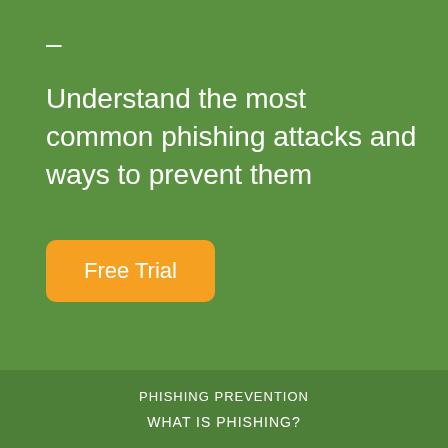–
Understand the most common phishing attacks and ways to prevent them
Free Trial
PHISHING PREVENTION
WHAT IS PHISHING?